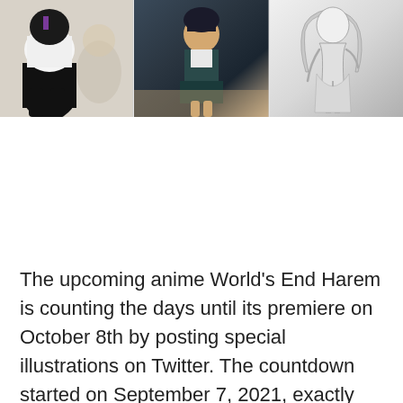[Figure (illustration): Three anime-style illustrations of female characters displayed side by side: left panel shows a character in black and white outfit with dark stockings, middle panel shows a character in a teal/dark outfit, right panel shows a grayscale sketch of a character in a skirt.]
The upcoming anime World's End Harem is counting the days until its premiere on October 8th by posting special illustrations on Twitter. The countdown started on September 7, 2021, exactly one month before the